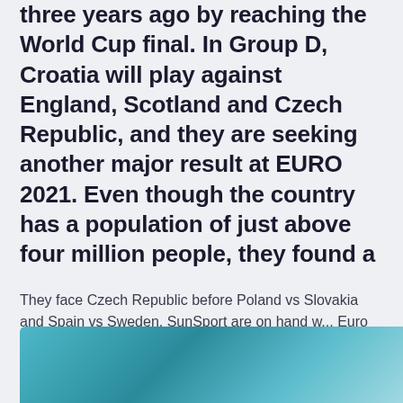three years ago by reaching the World Cup final. In Group D, Croatia will play against England, Scotland and Czech Republic, and they are seeking another major result at EURO 2021. Even though the country has a population of just above four million people, they found a
They face Czech Republic before Poland vs Slovakia and Spain vs Sweden. SunSport are on hand w... Euro 2020 picks, odds: Scotland vs.
[Figure (photo): Partial image with teal/blue gradient background, cropped at bottom of page]